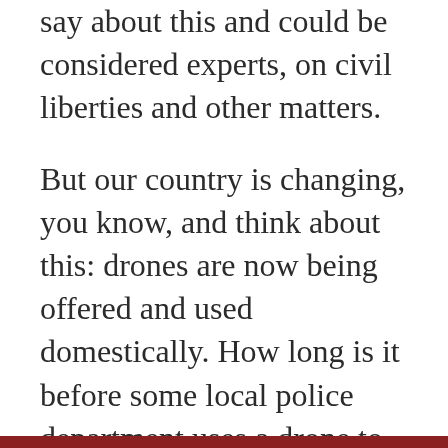say about this and could be considered experts, on civil liberties and other matters.
But our country is changing, you know, and think about this: drones are now being offered and used domestically. How long is it before some local police department uses a drone to intercept and kill a suspect, and when that becomes commonplace?